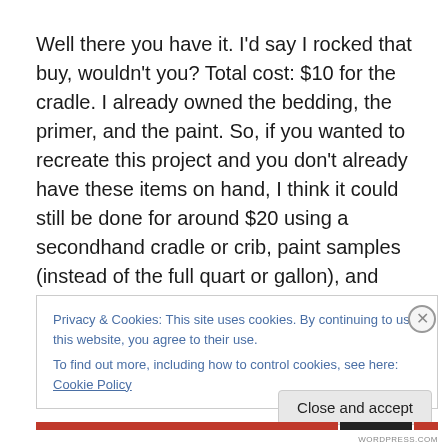Well there you have it.  I'd say I rocked that buy, wouldn't you?  Total cost:  $10 for the cradle.  I already owned the bedding, the primer, and the paint.  So, if you wanted to recreate this project and you don't already have these items on hand, I think it could still be done for around $20 using a secondhand cradle or crib, paint samples (instead of the full quart or gallon), and fabric remnants/clearance
Privacy & Cookies: This site uses cookies. By continuing to use this website, you agree to their use.
To find out more, including how to control cookies, see here: Cookie Policy
Close and accept